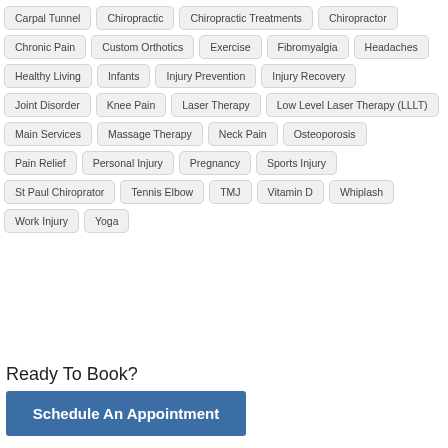Carpal Tunnel
Chiropractic
Chiropractic Treatments
Chiropractor
Chronic Pain
Custom Orthotics
Exercise
Fibromyalgia
Headaches
Healthy Living
Infants
Injury Prevention
Injury Recovery
Joint Disorder
Knee Pain
Laser Therapy
Low Level Laser Therapy (LLLT)
Main Services
Massage Therapy
Neck Pain
Osteoporosis
Pain Relief
Personal Injury
Pregnancy
Sports Injury
St Paul Chiroprator
Tennis Elbow
TMJ
Vitamin D
Whiplash
Work Injury
Yoga
Ready To Book?
Schedule An Appointment